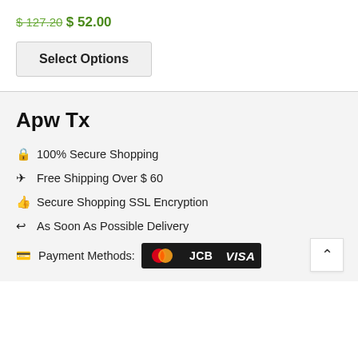$ 127.20  $ 52.00
Select Options
Apw Tx
100% Secure Shopping
Free Shipping Over $ 60
Secure Shopping SSL Encryption
As Soon As Possible Delivery
Payment Methods: MasterCard JCB VISA